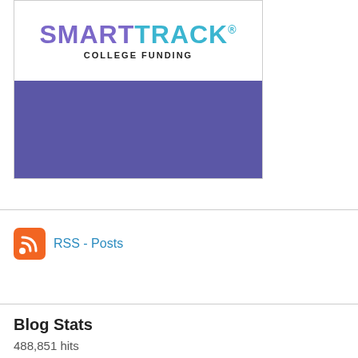[Figure (logo): SmartTrack College Funding logo — 'SMART' in purple, 'TRACK' in cyan with registered mark, 'COLLEGE FUNDING' in bold black below, on white background with a solid purple band beneath]
RSS - Posts
Blog Stats
488,851 hits